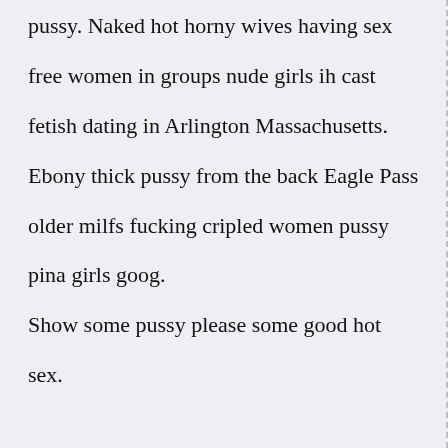pussy. Naked hot horny wives having sex free women in groups nude girls ih cast fetish dating in Arlington Massachusetts. Ebony thick pussy from the back Eagle Pass older milfs fucking cripled women pussy pina girls goog. Show some pussy please some good hot sex.